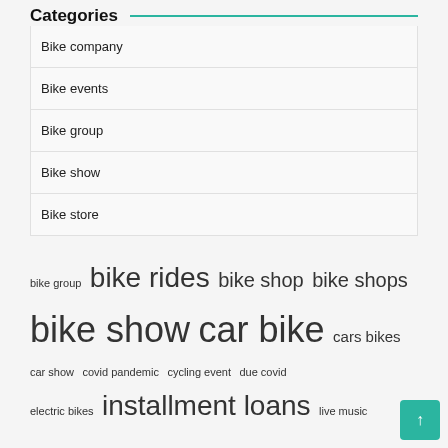Categories
Bike company
Bike events
Bike group
Bike show
Bike store
bike group  bike rides  bike shop  bike shops  bike show  car bike  cars bikes  car show  covid pandemic  cycling event  due covid  electric bikes  installment loans  live music